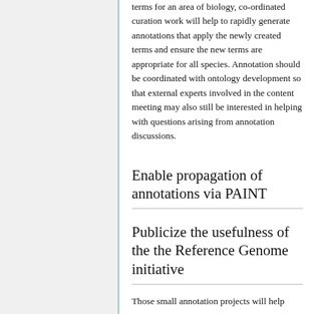terms for an area of biology, co-ordinated curation work will help to rapidly generate annotations that apply the newly created terms and ensure the new terms are appropriate for all species. Annotation should be coordinated with ontology development so that external experts involved in the content meeting may also still be interested in helping with questions arising from annotation discussions.
Enable propagation of annotations via PAINT
Publicize the usefulness of the the Reference Genome initiative
Those small annotation projects will help